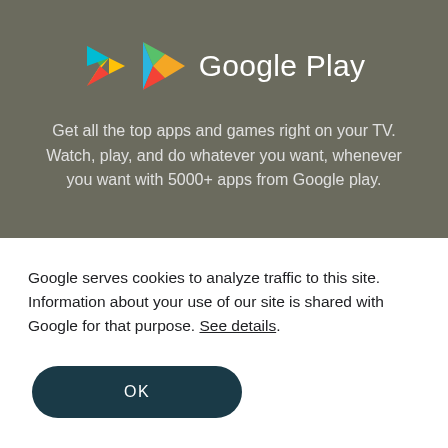[Figure (logo): Google Play logo with colorful triangle play button icon and white Google Play text on a dark olive/grey background]
Get all the top apps and games right on your TV. Watch, play, and do whatever you want, whenever you want with 5000+ apps from Google play.
Google serves cookies to analyze traffic to this site. Information about your use of our site is shared with Google for that purpose. See details.
OK